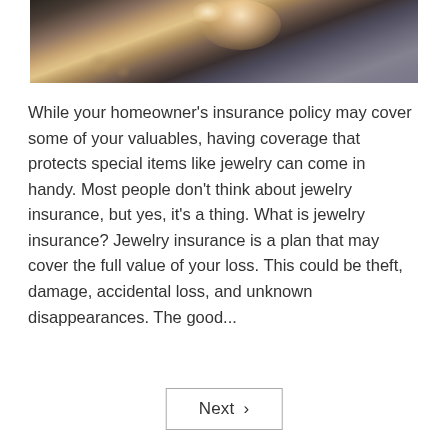[Figure (photo): Close-up photo of a decorative jewelry ring with gemstones, placed on a dark surface. The ring appears ornate with rose gold tones and diamond-like stones.]
While your homeowner's insurance policy may cover some of your valuables, having coverage that protects special items like jewelry can come in handy. Most people don't think about jewelry insurance, but yes, it's a thing. What is jewelry insurance? Jewelry insurance is a plan that may cover the full value of your loss. This could be theft, damage, accidental loss, and unknown disappearances. The good...
Next ›